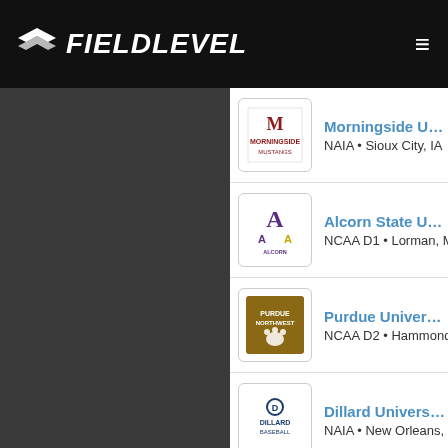FIELDLEVEL
Morningside University • NAIA • Sioux City, IA
Alcorn State University • NCAA D1 • Lorman, MS
Purdue University • NCAA D2 • Hammond,
Dillard University • NAIA • New Orleans, L
Ottawa University • NAIA • Sun City, AZ
Keiser University • NAIA • West Palm Bea
University of Montana • NCAA D1 • Missoula, M